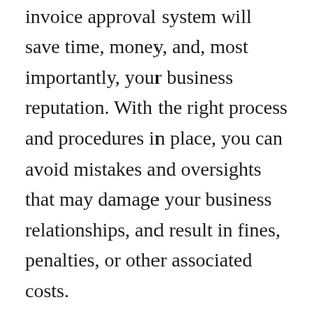invoice approval system will save time, money, and, most importantly, your business reputation. With the right process and procedures in place, you can avoid mistakes and oversights that may damage your business relationships, and result in fines, penalties, or other associated costs.
Many companies do not properly manage their procurement processes. They may have an overly complicated approval process or worse, no advance approval, leaving the accounts payable department or procurement manager to match invoices to projects, approve and pay